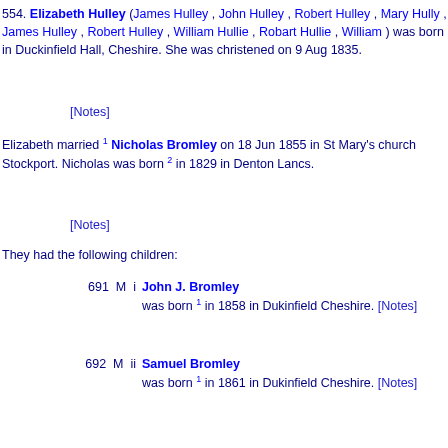554. Elizabeth Hulley (James Hulley , John Hulley , Robert Hulley , Mary Hully , James Hulley , Robert Hulley , William Hullie , Robart Hullie , William ) was born in Duckinfield Hall, Cheshire. She was christened on 9 Aug 1835.
[Notes]
Elizabeth married 1 Nicholas Bromley on 18 Jun 1855 in St Mary's church Stockport. Nicholas was born 2 in 1829 in Denton Lancs.
[Notes]
They had the following children:
691 M i John J. Bromley was born 1 in 1858 in Dukinfield Cheshire. [Notes]
692 M ii Samuel Bromley was born 1 in 1861 in Dukinfield Cheshire. [Notes]